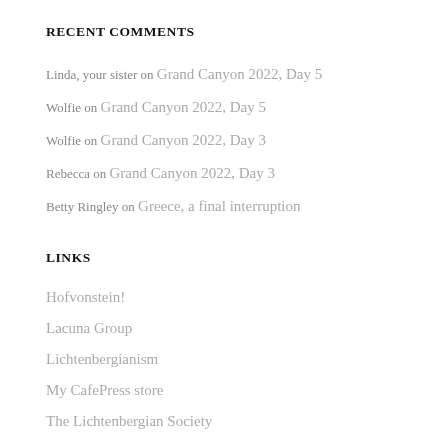RECENT COMMENTS
Linda, your sister on Grand Canyon 2022, Day 5
Wolfie on Grand Canyon 2022, Day 5
Wolfie on Grand Canyon 2022, Day 3
Rebecca on Grand Canyon 2022, Day 3
Betty Ringley on Greece, a final interruption
LINKS
Hofvonstein!
Lacuna Group
Lichtenbergianism
My CafePress store
The Lichtenbergian Society
META
Log in